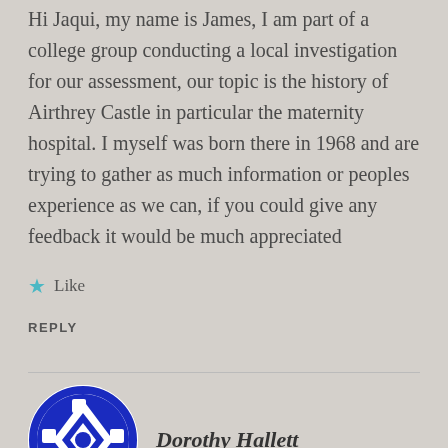Hi Jaqui, my name is James, I am part of a college group conducting a local investigation for our assessment, our topic is the history of Airthrey Castle in particular the maternity hospital. I myself was born there in 1968 and are trying to gather as much information or peoples experience as we can, if you could give any feedback it would be much appreciated
★ Like
REPLY
Dorothy Hallett